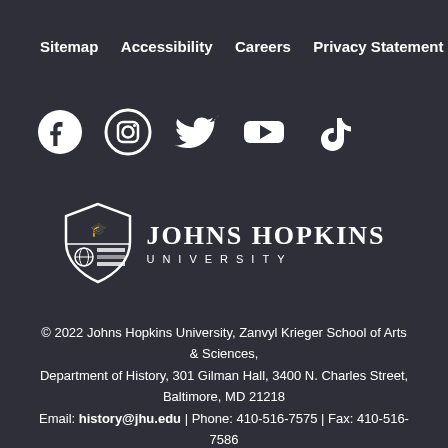Sitemap   Accessibility   Careers   Privacy Statement
[Figure (logo): Social media icons: Facebook, Instagram, Twitter, YouTube, TikTok]
[Figure (logo): Johns Hopkins University shield logo with text JOHNS HOPKINS UNIVERSITY]
© 2022 Johns Hopkins University, Zanvyl Krieger School of Arts & Sciences, Department of History, 301 Gilman Hall, 3400 N. Charles Street, Baltimore, MD 21218
Email: history@jhu.edu | Phone: 410-516-7575 | Fax: 410-516-7586